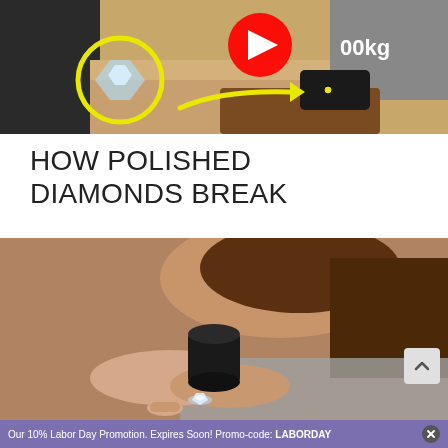[Figure (photo): A diamond being struck by a large weight on a sandy surface with yellow circled highlights and a YouTube play button overlay. A black device is shown with a yellow arrow pointing to it.]
HOW POLISHED DIAMONDS BREAK
[Figure (photo): A person holding a diamond ring up to a jeweler's loupe magnifier, closely examining the stone.]
Our 10% Labor Day Promotion. Expires Soon! Promo-code: LABORDAY